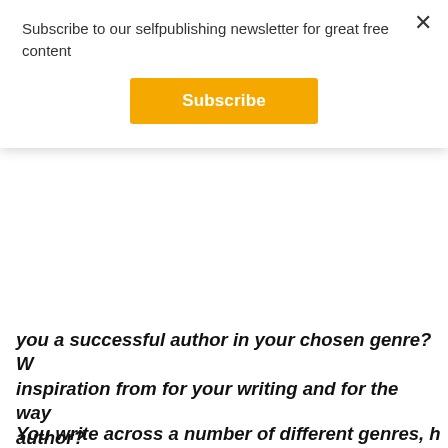Subscribe to our selfpublishing newsletter for great free content
Subscribe
you a successful author in your chosen genre? W inspiration from for your writing and for the way author?
I think life is definitely a great motivator for writing, a I use an old joke that I've killed my ex-wives over and from the truth. I can channel some of the negatives f horrible thoughts and people. And kill them. In a stor
You write across a number of different genres, h